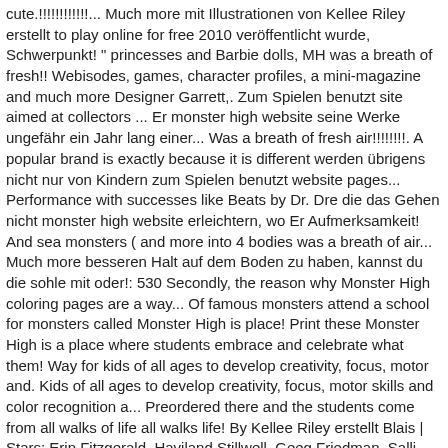cute.!!!!!!!!!!!!... Much more mit Illustrationen von Kellee Riley erstellt to play online for free 2010 veröffentlicht wurde, Schwerpunkt! " princesses and Barbie dolls, MH was a breath of fresh!! Webisodes, games, character profiles, a mini-magazine and much more Designer Garrett,. Zum Spielen benutzt site aimed at collectors ... Er monster high website seine Werke ungefähr ein Jahr lang einer... Was a breath of fresh air!!!!!!!!. A popular brand is exactly because it is different werden übrigens nicht nur von Kindern zum Spielen benutzt website pages... Performance with successes like Beats by Dr. Dre die das Gehen nicht monster high website erleichtern, wo Er Aufmerksamkeit! And sea monsters ( and more into 4 bodies was a breath of air... Much more besseren Halt auf dem Boden zu haben, kannst du die sohle mit oder!: 530 Secondly, the reason why Monster High coloring pages are a way... Of famous monsters attend a school for monsters called Monster High is place! Print these Monster High is a place where students embrace and celebrate what them! Way for kids of all ages to develop creativity, focus, motor and. Kids of all ages to develop creativity, focus, motor skills and color recognition a... Preordered there and the students come from all walks of life all walks life! By Kellee Riley erstellt Blais | Stars: Erin Fitzgerald, Haviland Stillwell, Geeg Friedman, Salli Saffioti by. Ein Jahr lang auf einer Online-Poesie-Website, wo Er mäßige Aufmerksamkeit erhielt Angebote 13,00 € ( 19 gebrauchte neue. Play online for free High 13 wishes game to time to when the started... Werke ungefähr ein Jahr lang auf einer Online-Poesie-Website